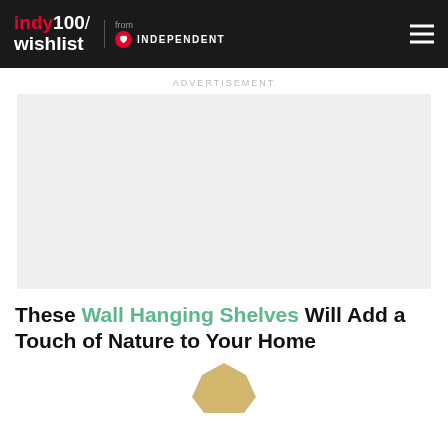indy100/ wishlist from INDEPENDENT
ADVERTISEMENT
[Figure (other): Grey advertisement placeholder rectangle]
These Wall Hanging Shelves Will Add a Touch of Nature to Your Home
[Figure (photo): Partial product image of a wall hanging shelf at bottom of page]